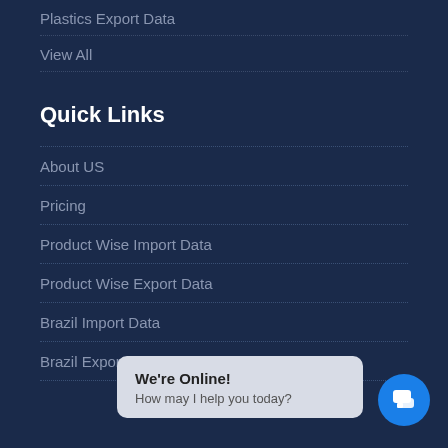Plastics Export Data
View All
Quick Links
About US
Pricing
Product Wise Import Data
Product Wise Export Data
Brazil Import Data
Brazil Export Data
[Figure (other): Live chat popup bubble showing 'We're Online! How may I help you today?' with a blue circular chat icon button]